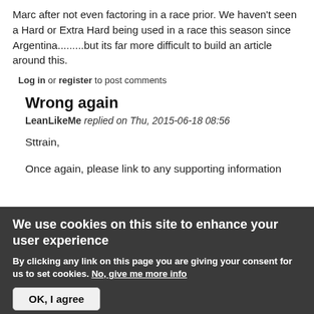Marc after not even factoring in a race prior. We haven't seen a Hard or Extra Hard being used in a race this season since Argentina.........but its far more difficult to build an article around this.
Log in or register to post comments
Wrong again
LeanLikeMe replied on Thu, 2015-06-18 08:56
Sttrain,
Once again, please link to any supporting information
We use cookies on this site to enhance your user experience
By clicking any link on this page you are giving your consent for us to set cookies. No, give me more info
OK, I agree